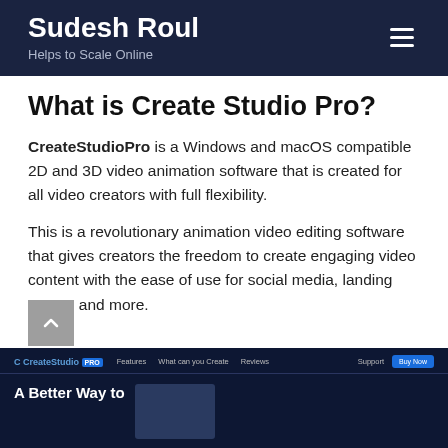Sudesh Roul
Helps to Scale Online
What is Create Studio Pro?
CreateStudioPro is a Windows and macOS compatible 2D and 3D video animation software that is created for all video creators with full flexibility.
This is a revolutionary animation video editing software that gives creators the freedom to create engaging video content with the ease of use for social media, landing pages, and more.
[Figure (screenshot): Screenshot of CreateStudio Pro website showing navigation bar and 'A Better Way to' headline text on dark blue background]